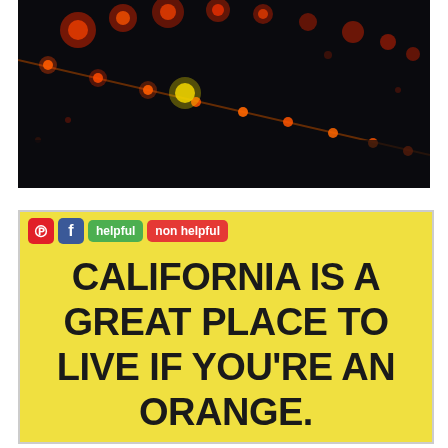[Figure (photo): Dark night scene with bokeh string lights — orange and red glowing dots against a black background, arranged in a diagonal line from upper left to lower right.]
[Figure (infographic): Yellow background meme card with social sharing buttons (Pinterest, Facebook, helpful, non helpful) and bold black text reading: CALIFORNIA IS A GREAT PLACE TO LIVE IF YOU'RE AN ORANGE.]